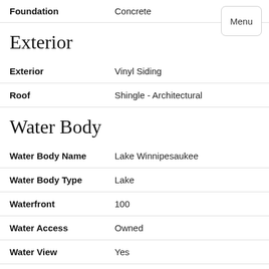| Field | Value |
| --- | --- |
| Foundation | Concrete |
Exterior
| Field | Value |
| --- | --- |
| Exterior | Vinyl Siding |
| Roof | Shingle - Architectural |
Water Body
| Field | Value |
| --- | --- |
| Water Body Name | Lake Winnipesaukee |
| Water Body Type | Lake |
| Waterfront | 100 |
| Water Access | Owned |
| Water View | Yes |